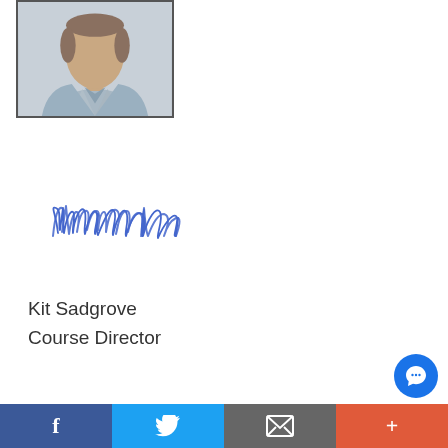[Figure (photo): Headshot photo of Kit Sadgrove, a man in a light blue collared shirt, cropped at shoulders]
[Figure (illustration): Handwritten cursive signature reading 'KitSadgrove' in blue ink]
Kit Sadgrove
Course Director